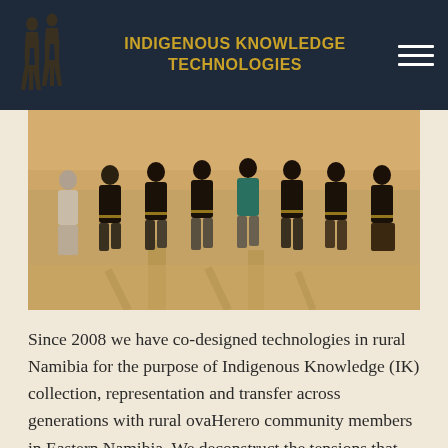INDIGENOUS KNOWLEDGE TECHNOLOGIES
[Figure (photo): Group of people in matching dark t-shirts kneeling on sandy ground outdoors]
Since 2008 we have co-designed technologies in rural Namibia for the purpose of Indigenous Knowledge (IK) collection, representation and transfer across generations with rural ovaHerero community members in Eastern Namibia. We deconstruct the tensions that occur between Western imprinted technology and the digital representation of Indigenous Knowledge in theory and practice. Assumptions regarding methods considered appropriate, as well as concepts and techniques are